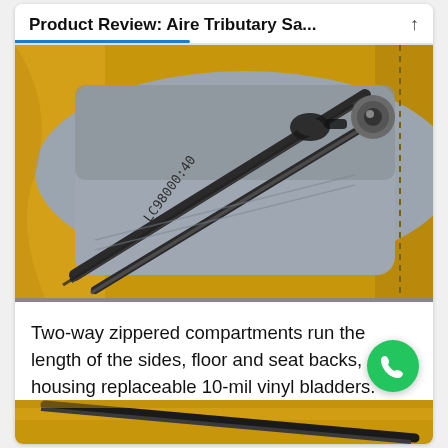Product Review: Aire Tributary Sa...
[Figure (photo): Close-up photo of a silver/gray inflatable bladder with a two-way zipper on a yellow kayak or raft, showing zipper pull and a serial number stamped on the bladder.]
Two-way zippered compartments run the length of the sides, floor and seat backs, housing replaceable 10-mil vinyl bladders.
[Figure (photo): Partial view of yellow inflatable raft or kayak material at the bottom of the page.]